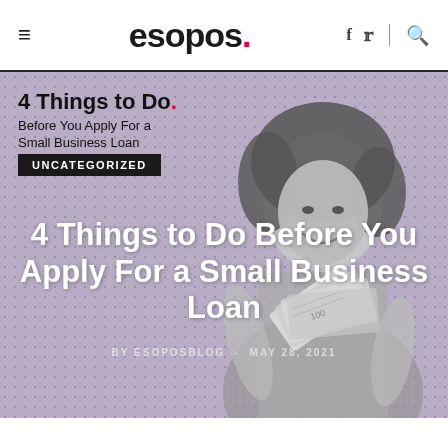esopos.
[Figure (photo): Blog post hero image with purple/lavender dotted background. A grayscale photo of a smiling woman holding a fan of dollar bills. Overlaid text shows the blog post thumbnail card '4 Things to Do Before You Apply Small Business Loan', an UNCATEGORIZED badge, the main title '4 Things to Do Before You Apply For a Small Business Loan', and byline 'BY ESOPOSBLOG - MAY 28, 2021'.]
4 Things to Do Before You Apply For a Small Business Loan
BY ESOPOSBLOG - MAY 28, 2021